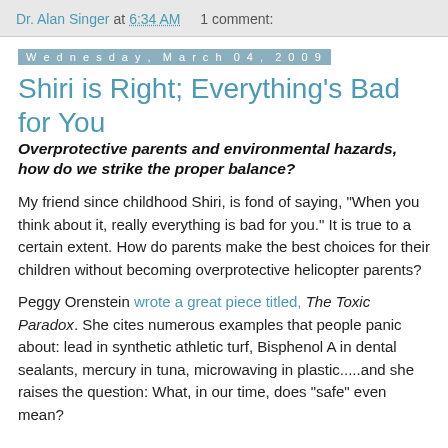Dr. Alan Singer at 6:34 AM    1 comment:
Wednesday, March 04, 2009
Shiri is Right; Everything's Bad for You
Overprotective parents and environmental hazards, how do we strike the proper balance?
My friend since childhood Shiri, is fond of saying, "When you think about it, really everything is bad for you." It is true to a certain extent. How do parents make the best choices for their children without becoming overprotective helicopter parents?
Peggy Orenstein wrote a great piece titled, The Toxic Paradox. She cites numerous examples that people panic about: lead in synthetic athletic turf, Bisphenol A in dental sealants, mercury in tuna, microwaving in plastic.....and she raises the question: What, in our time, does "safe" even mean?